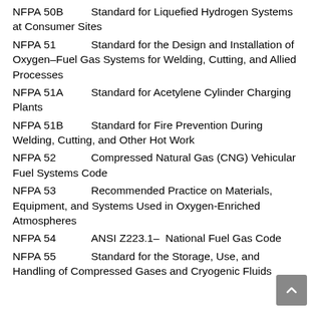NFPA 50B   Standard for Liquefied Hydrogen Systems at Consumer Sites
NFPA 51   Standard for the Design and Installation of Oxygen–Fuel Gas Systems for Welding, Cutting, and Allied Processes
NFPA 51A   Standard for Acetylene Cylinder Charging Plants
NFPA 51B   Standard for Fire Prevention During Welding, Cutting, and Other Hot Work
NFPA 52   Compressed Natural Gas (CNG) Vehicular Fuel Systems Code
NFPA 53   Recommended Practice on Materials, Equipment, and Systems Used in Oxygen-Enriched Atmospheres
NFPA 54   ANSI Z223.1– National Fuel Gas Code
NFPA 55   Standard for the Storage, Use, and Handling of Compressed Gases and Cryogenic Fluids